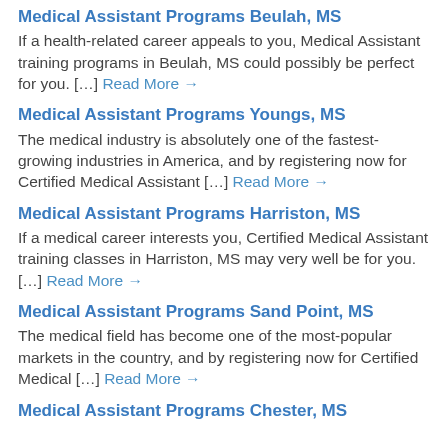Medical Assistant Programs Beulah, MS
If a health-related career appeals to you, Medical Assistant training programs in Beulah, MS could possibly be perfect for you. […] Read More →
Medical Assistant Programs Youngs, MS
The medical industry is absolutely one of the fastest-growing industries in America, and by registering now for Certified Medical Assistant […] Read More →
Medical Assistant Programs Harriston, MS
If a medical career interests you, Certified Medical Assistant training classes in Harriston, MS may very well be for you. […] Read More →
Medical Assistant Programs Sand Point, MS
The medical field has become one of the most-popular markets in the country, and by registering now for Certified Medical […] Read More →
Medical Assistant Programs Chester, MS